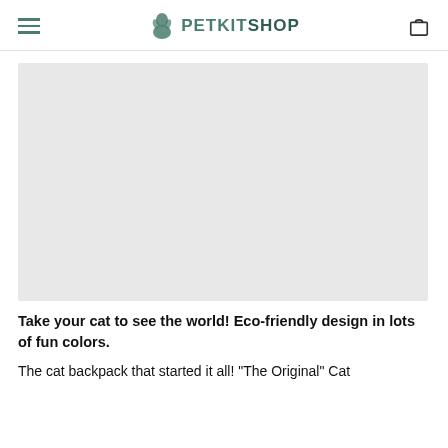PETKITSHOP
[Figure (photo): Large light gray placeholder product image area for a cat backpack product]
Take your cat to see the world! Eco-friendly design in lots of fun colors.
The cat backpack that started it all! "The Original" Cat